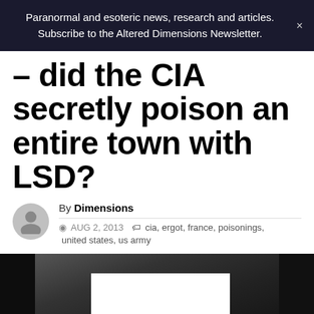Paranormal and esoteric news, research and articles. Subscribe to the Altered Dimensions Newsletter.
– did the CIA secretly poison an entire town with LSD?
By Dimensions
© AUG 2, 2013  cia, ergot, france, poisonings, united states, us army
[Figure (photo): Black and white photograph, partially obscured by a white rectangle overlay. Dark scene with structures visible on left and right edges.]